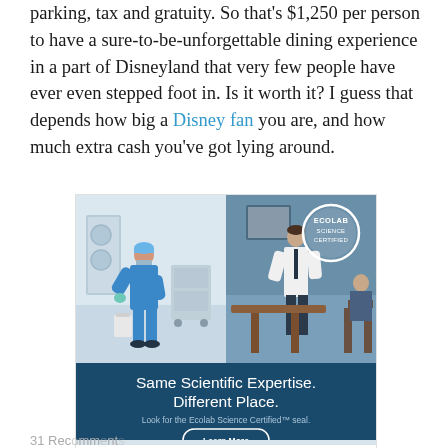parking, tax and gratuity. So that's $1,250 per person to have a sure-to-be-unforgettable dining experience in a part of Disneyland that very few people have ever even stepped foot in. Is it worth it? I guess that depends how big a Disney fan you are, and how much extra cash you've got lying around.
[Figure (photo): Ecolab Science Certified advertisement showing two scenes: left side shows a medical professional in blue scrubs cleaning in a hospital setting, right side shows a restaurant worker cleaning a table with diners in the background. Bottom blue banner reads 'Same Scientific Expertise. Different Place.' with subtext 'Look for the Ecolab Science Certified seal.' and a 'Learn More' button.]
31 Recalling comments on dining experience...